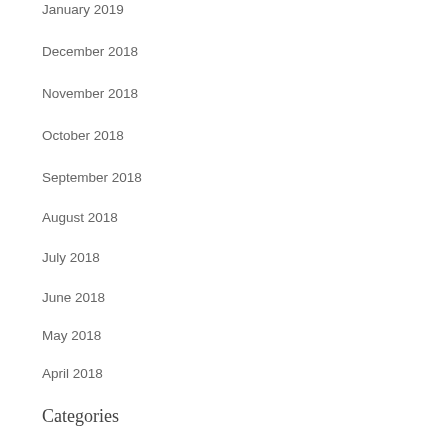January 2019
December 2018
November 2018
October 2018
September 2018
August 2018
July 2018
June 2018
May 2018
April 2018
Categories
Advent
Ash Wednesday
Beauty